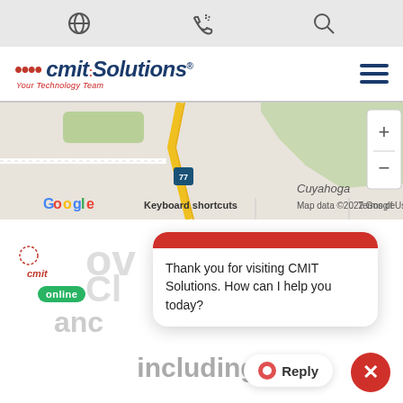Navigation icons: globe, phone, search
[Figure (logo): CMIT Solutions logo with tagline 'Your Technology Team' and hamburger menu icon]
[Figure (map): Google Maps partial view showing road intersections near Cuyahoga with zoom controls, keyboard shortcuts, and map data copyright 2022 Google]
[Figure (screenshot): CMIT Solutions chat widget with red header, message 'Thank you for visiting CMIT Solutions. How can I help you today?', Reply button, close (X) button, online badge, partial page text showing 'including:' and zip codes]
GET A QUOTE  44102  44104  44403  44106